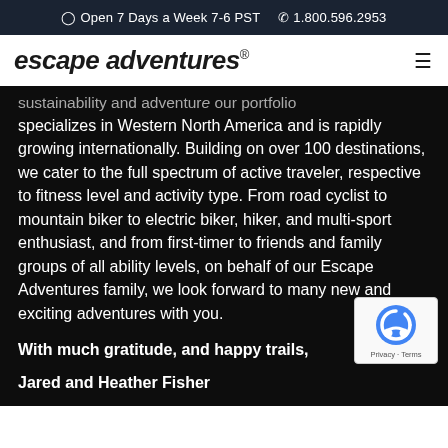Open 7 Days a Week 7-6 PST   1.800.596.2953
[Figure (logo): Escape Adventures logo with italic bold text and registered trademark symbol, with hamburger menu icon on right]
sustainability and adventure our portfolio specializes in Western North America and is rapidly growing internationally. Building on over 100 destinations, we cater to the full spectrum of active traveler, respective to fitness level and activity type. From road cyclist to mountain biker to electric biker, hiker, and multi-sport enthusiast, and from first-timer to friends and family groups of all ability levels, on behalf of our Escape Adventures family, we look forward to many new and exciting adventures with you.
With much gratitude, and happy trails,
Jared and Heather Fisher